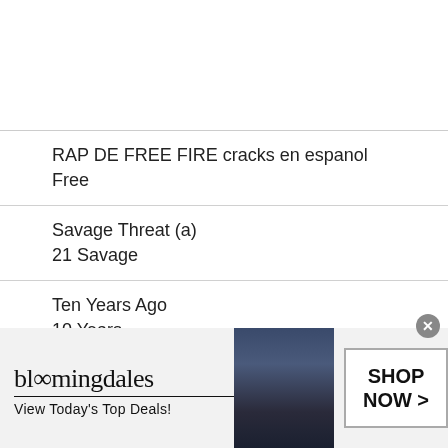RAP DE FREE FIRE cracks en espanol
Free
Savage Threat (a)
21 Savage
Ten Years Ago
10 Years
Promo Codes
[Figure (photo): Bloomingdale's advertisement banner showing logo, 'View Today's Top Deals!' tagline, a woman in a wide-brim navy hat, and a 'SHOP NOW >' button]